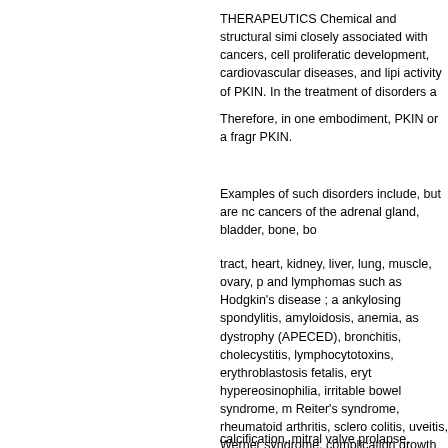THERAPEUTICS Chemical and structural simi closely associated with cancers, cell proliferatic development, cardiovascular diseases, and lipi activity of PKIN. In the treatment of disorders a
Therefore, in one embodiment, PKIN or a fragr PKIN.
Examples of such disorders include, but are nc cancers of the adrenal gland, bladder, bone, bo
tract, heart, kidney, liver, lung, muscle, ovary, p and lymphomas such as Hodgkin's disease ; a ankylosing spondylitis, amyloidosis, anemia, as dystrophy (APECED), bronchitis, cholecystitis, lymphocytotoxins, erythroblastosis fetalis, eryt hypereosinophilia, irritable bowel syndrome, m Reiter's syndrome, rheumatoid arthritis, sclero colitis, uveitis, Werner syndrome, complication growth and developmental disorder, such as ac paroxysmal nocturnal hemoglobinuria, polycyt teratocarcinoma, and, in particular, cancers of t muscle, ovary, pancreas, parathyroid, penis, p dwarfism, Duchenne and Becker muscular dys Magenis syndrome, myelodysplastic syndrome neurotibromatosis, hypothyroidism, hydroceph cataract, and sensorineural hearing loss ; a ca dissections, varicose veins, thrombophlebitis a bypass graft surgery, congestive heart failure, i valve stenosis, congenitally bicuspid aortic val
calcification, mitral valve prolapse, rheumatic f